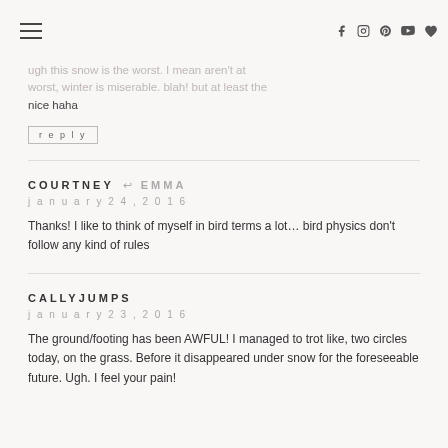Navigation header with hamburger menu and social icons (f, instagram, p, youtube, heart)
ugh this snow is the worst. I mean aren't at worst, winter is miserable. blah! but at least the nice haha
reply
COURTNEY → EMMA
january 24, 2016
Thanks! I like to think of myself in bird terms a lot… bird physics don't follow any kind of rules
CALLYJUMPS
january 23, 2016
The ground/footing has been AWFUL! I managed to trot like, two circles today, on the grass. Before it disappeared under snow for the foreseeable future. Ugh. I feel your pain!